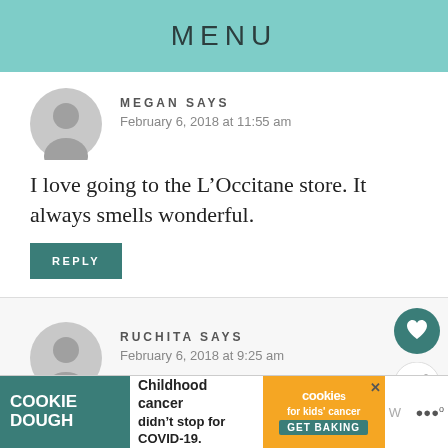MENU
MEGAN SAYS
February 6, 2018 at 11:55 am
I love going to the L’Occitane store. It always smells wonderful.
REPLY
RUCHITA SAYS
February 6, 2018 at 9:25 am